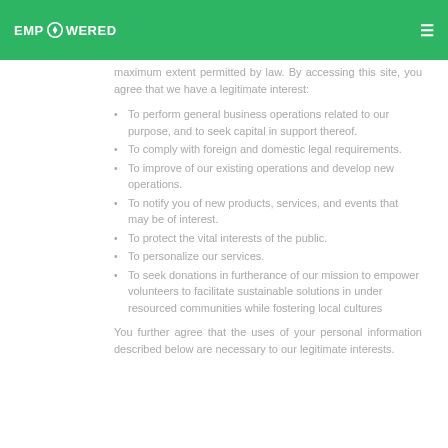EMPOWERED
maximum extent permitted by law. By accessing this site, you agree that we have a legitimate interest:
To perform general business operations related to our purpose, and to seek capital in support thereof.
To comply with foreign and domestic legal requirements.
To improve of our existing operations and develop new operations.
To notify you of new products, services, and events that may be of interest.
To protect the vital interests of the public.
To personalize our services.
To seek donations in furtherance of our mission to empower volunteers to facilitate sustainable solutions in under resourced communities while fostering local cultures
You further agree that the uses of your personal information described below are necessary to our legitimate interests.